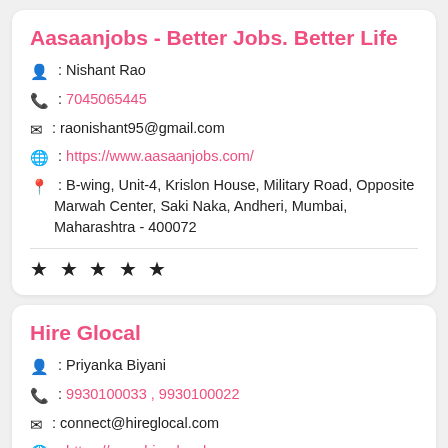Aasaanjobs - Better Jobs. Better Life
👤 : Nishant Rao
📞 : 7045065445
✉ : raonishant95@gmail.com
🌐 : https://www.aasaanjobs.com/
📍 : B-wing, Unit-4, Krislon House, Military Road, Opposite Marwah Center, Saki Naka, Andheri, Mumbai, Maharashtra - 400072
★ ★ ★ ★ ★
Hire Glocal
👤 : Priyanka Biyani
📞 : 9930100033 , 9930100022
✉ : connect@hireglocal.com
🌐 : https://www.hireglocal.com
📍 : 708 & 709, 7th Floor, Corporate Avenue, Opp. Atlanta Centre, Sonawala Road, Goregaon East, Mumbai, Maharashtra, India